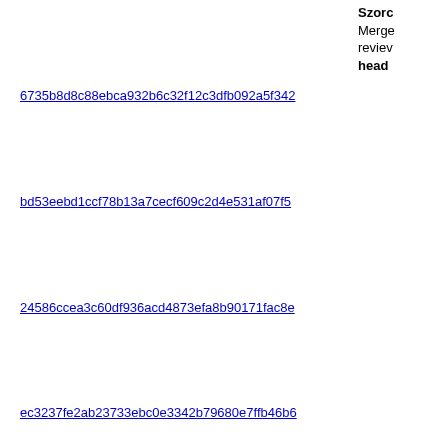Szorc Merge review head
6735b8d8c88ebca932b6c32f12c3dfb092a5f342 — Grege Szorc Merge review head
bd53eebd1ccf78b13a7cecf609c2d4e531af07f5 — Grege Szorc Merge review head
24586ccea3c60df936acd4873efa8b90171fac8e — Grege Szorc Merge review head
ec3237fe2ab23733ebc0e3342b79680e7ffb46b6 — Grege Szorc Merge review head
054168275db4120a7b0d6f3b614719a9b9466398 — Grege Szorc Merge review head
3cfc503e3703cf05bdecd6c95a152c083c838bfc — Grege